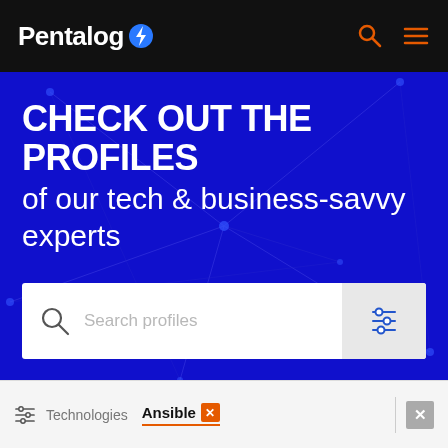Pentalog
CHECK OUT THE PROFILES of our tech & business-savvy experts
[Figure (screenshot): Search bar with magnifying glass icon, placeholder text 'Search profiles', and a filter/sliders icon on the right]
Technologies  Ansible  ×